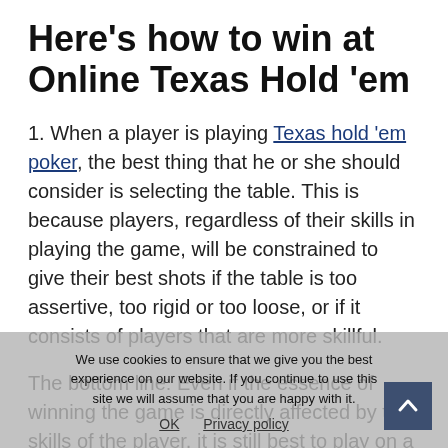Here's how to win at Online Texas Hold 'em
1. When a player is playing Texas hold 'em poker, the best thing that he or she should consider is selecting the table. This is because players, regardless of their skills in playing the game, will be constrained to give their best shots if the table is too assertive, too rigid or too loose, or if it consists of players that are more skillful.
The bottom line: Even if the essence of winning the game is directly affected by the skills of the player, it is still best to play on a table that has few raisers but many callers.
We use cookies to ensure that we give you the best experience on our website. If you continue to use this site we will assume that you are happy with it.
OK   Privacy policy